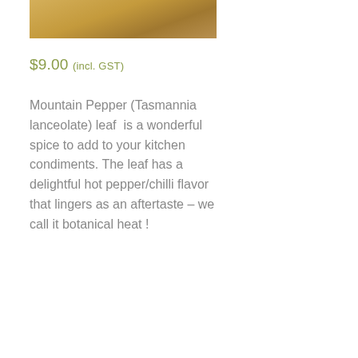[Figure (photo): Partial product photo showing a gold/amber colored package or tin, cropped at the top]
$9.00 (incl. GST)
Mountain Pepper (Tasmannia lanceolate) leaf  is a wonderful spice to add to your kitchen condiments. The leaf has a delightful hot pepper/chilli flavor that lingers as an aftertaste – we call it botanical heat !